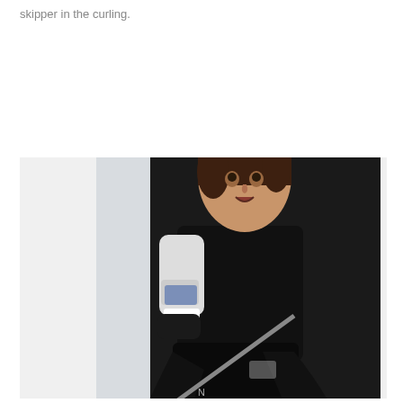skipper in the curling.
[Figure (photo): A female curler in a crouching/delivery position on the ice, wearing black and white curling attire and holding a curling broom. A yellow curling stone is visible in the background.]
N